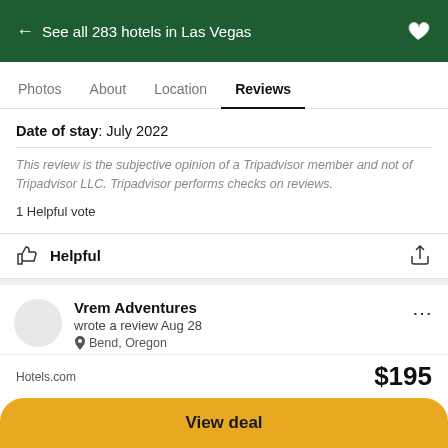← See all 283 hotels in Las Vegas
Photos  About  Location  Reviews
Date of stay: July 2022
This review is the subjective opinion of a Tripadvisor member and not of Tripadvisor LLC. Tripadvisor performs checks on reviews.
1 Helpful vote
Helpful
Vrem Adventures
wrote a review Aug 28
Bend, Oregon
7 contributions
Hotels.com  $195
View deal